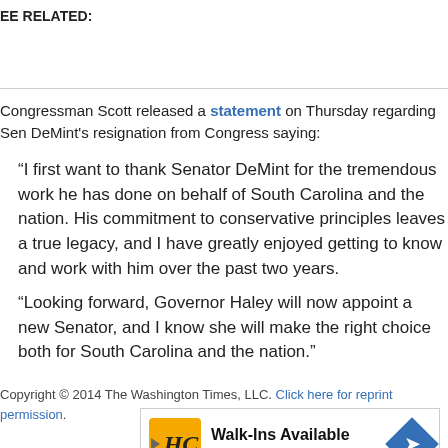EE RELATED:
Congressman Scott released a statement on Thursday regarding Sen DeMint's resignation from Congress saying:
“I first want to thank Senator DeMint for the tremendous work he has done on behalf of South Carolina and the nation. His commitment to conservative principles leaves a true legacy, and I have greatly enjoyed getting to know and work with him over the past two years.

“Looking forward, Governor Haley will now appoint a new Senator, and I know she will make the right choice both for South Carolina and the nation.”
Copyright © 2014 The Washington Times, LLC. Click here for reprint permission.
[Figure (infographic): Hair Cuttery advertisement banner: Walk-Ins Available, Hair Cuttery, with HC logo and directional arrow]